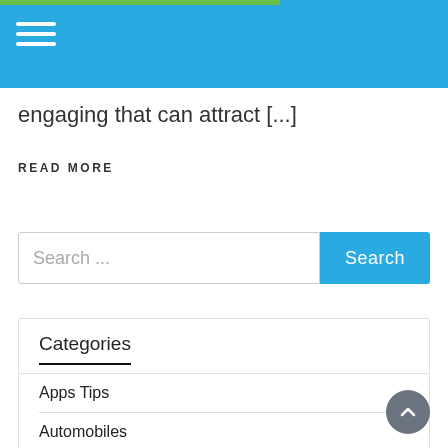engaging that can attract [...]
READ MORE
[Figure (other): Search bar with text input placeholder 'Search ...' and a teal 'Search' button]
Categories
Apps Tips
Automobiles
Phone Tips